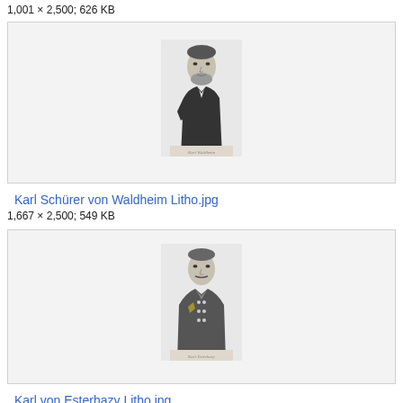1,001 × 2,000; 626 KB
[Figure (photo): Lithograph portrait of Karl Schürer von Waldheim, a man in dark coat with beard, 19th century style engraving]
Karl Schürer von Waldheim Litho.jpg
1,667 × 2,500; 549 KB
[Figure (photo): Lithograph portrait of Karl von Esterhazy, a man in military uniform, 19th century style engraving]
Karl von Esterhazy Litho.jpg
1,639 × 2,451; 702 KB